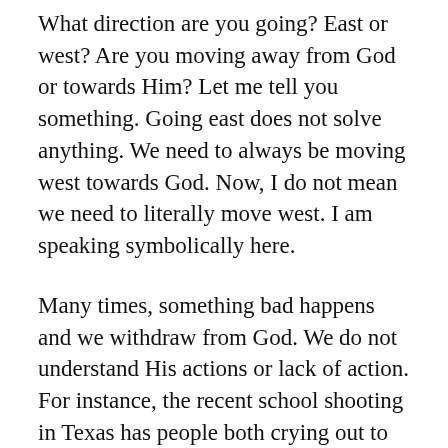What direction are you going? East or west? Are you moving away from God or towards Him? Let me tell you something. Going east does not solve anything. We need to always be moving west towards God. Now, I do not mean we need to literally move west. I am speaking symbolically here.
Many times, something bad happens and we withdraw from God. We do not understand His actions or lack of action. For instance, the recent school shooting in Texas has people both crying out to God and blaming God. God did not cause that shooting. Got that out of our heads.